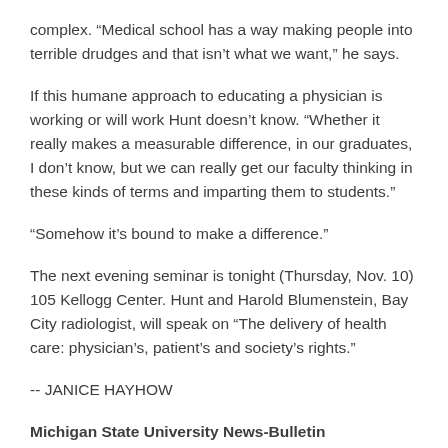complex. “Medical school has a way making people into terrible drudges and that isn’t what we want,” he says.
If this humane approach to educating a physician is working or will work Hunt doesn’t know. “Whether it really makes a measurable difference, in our graduates, I don’t know, but we can really get our faculty thinking in these kinds of terms and imparting them to students.”
“Somehow it’s bound to make a difference.”
The next evening seminar is tonight (Thursday, Nov. 10) 105 Kellogg Center. Hunt and Harold Blumenstein, Bay City radiologist, will speak on “The delivery of health care: physician’s, patient’s and society’s rights.”
-- JANICE HAYHOW
Michigan State University News-Bulletin
November 10, 1977